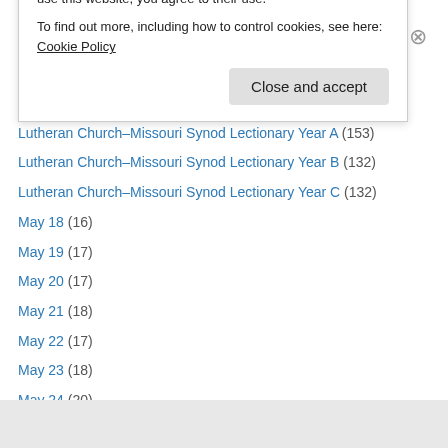June 7 (24)
June 8 (22)
June 9 (22)
Labor Day (17)
Lutheran Church–Missouri Synod Lectionary Year A (153)
Lutheran Church–Missouri Synod Lectionary Year B (132)
Lutheran Church–Missouri Synod Lectionary Year C (132)
May 18 (16)
May 19 (17)
May 20 (17)
May 21 (18)
May 22 (17)
May 23 (18)
May 24 (20)
Privacy & Cookies: This site uses cookies. By continuing to use this website, you agree to their use. To find out more, including how to control cookies, see here: Cookie Policy
Close and accept